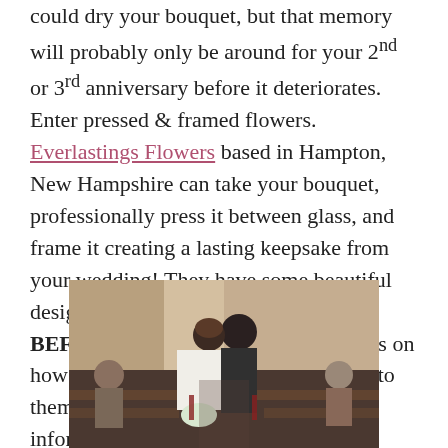could dry your bouquet, but that memory will probably only be around for your 2nd or 3rd anniversary before it deteriorates. Enter pressed & framed flowers. Everlastings Flowers based in Hampton, New Hampshire can take your bouquet, professionally press it between glass, and frame it creating a lasting keepsake from your wedding! They have some beautiful design options. Be sure to contact them BEFORE your wedding for instructions on how to preserve and ship your bouquet to them.   Contact them to find out more information if you have had a recent wedding.
[Figure (photo): Wedding photo showing a bride and groom kissing at the altar, with guests seated in pews on either side, in a warm-toned indoor setting.]